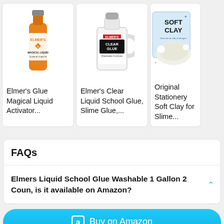[Figure (screenshot): Product card showing Elmer's Glue Magical Liquid Activator bottle (orange label)]
Elmer's Glue Magical Liquid Activator...
[Figure (screenshot): Product card showing Elmer's Clear Glue gallon jug]
Elmer's Clear Liquid School Glue, Slime Glue,...
[Figure (screenshot): Product card showing Original Stationery Soft Clay for Slime box]
Original Stationery Soft Clay for Slime...
FAQs
Elmers Liquid School Glue Washable 1 Gallon 2 Coun, is it available on Amazon?
Buy on Amazon
Start Watching